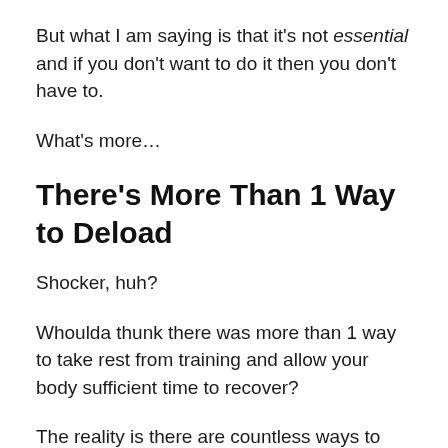But what I am saying is that it's not essential and if you don't want to do it then you don't have to.
What's more…
There's More Than 1 Way to Deload
Shocker, huh?
Whoulda thunk there was more than 1 way to take rest from training and allow your body sufficient time to recover?
The reality is there are countless ways to deload